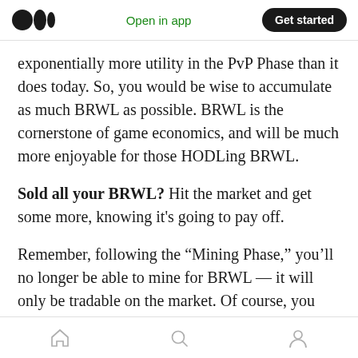Open in app | Get started
exponentially more utility in the PvP Phase than it does today. So, you would be wise to accumulate as much BRWL as possible. BRWL is the cornerstone of game economics, and will be much more enjoyable for those HODLing BRWL.
Sold all your BRWL? Hit the market and get some more, knowing it's going to pay off.
Remember, following the “Mining Phase,” you'll no longer be able to mine for BRWL — it will only be tradable on the market. Of course, you can craft and swag your Brawlers out, but you can't
Home | Search | Profile